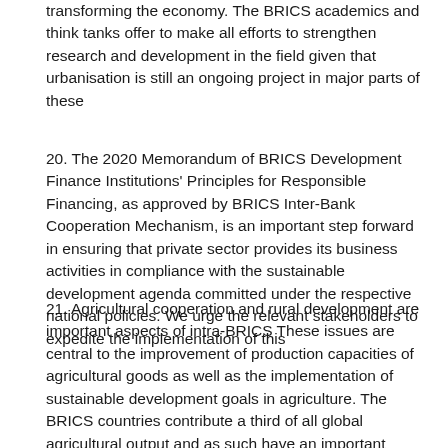transforming the economy. The BRICS academics and think tanks offer to make all efforts to strengthen research and development in the field given that urbanisation is still an ongoing project in major parts of these
20. The 2020 Memorandum of BRICS Development Finance Institutions' Principles for Responsible Financing, as approved by BRICS Inter-Bank Cooperation Mechanism, is an important step forward in ensuring that private sector provides its business activities in compliance with the sustainable development agenda committed under the respective national policies. We urge the relevant stakeholders to expedite the implementation of this
21. Agricultural cooperation and rural development are important aspects of intra-BRICS These issues are central to the improvement of production capacities of agricultural goods as well as the implementation of sustainable development goals in agriculture. The BRICS countries contribute a third of all global agricultural output and as such have an important responsibility in ensuring the sustainability of the agriculture and food sector, global food security and nutrition. Given this, it is important to accelerate the sharing of